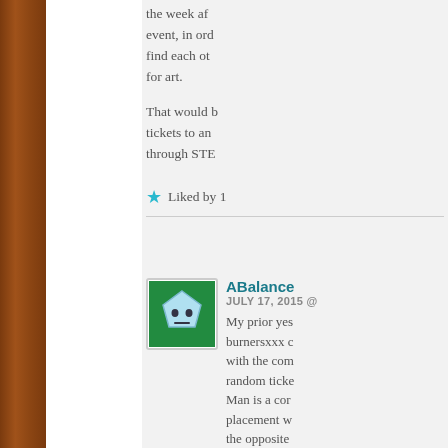the week after event, in order find each other for art.
That would be tickets to an through STE
Liked by 1
[Figure (illustration): Avatar icon: green pentagon shape with cartoon face on white/teal background]
ABalance
JULY 17, 2015 @
My prior yes burnersxxx c with the com random ticke Man is a cor placement w the opposite
Liked by